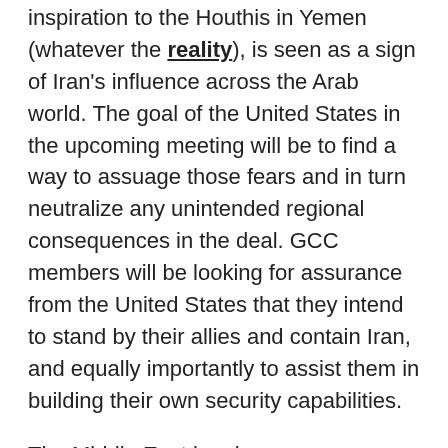inspiration to the Houthis in Yemen (whatever the reality), is seen as a sign of Iran's influence across the Arab world. The goal of the United States in the upcoming meeting will be to find a way to assuage those fears and in turn neutralize any unintended regional consequences in the deal. GCC members will be looking for assurance from the United States that they intend to stand by their allies and contain Iran, and equally importantly to assist them in building their own security capabilities.
The Middle East has been a battleground for strategic influence for many years, and this too will be high up in the minds of those US officials involved. They will not just be worrying about the spreading influence of Chinese commercial interests